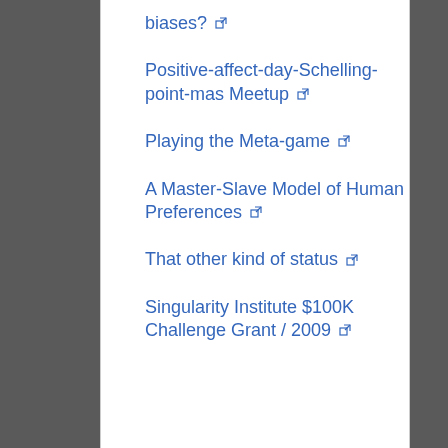biases? [external link]
Positive-affect-day-Schelling-point-mas Meetup [external link]
Playing the Meta-game [external link]
A Master-Slave Model of Human Preferences [external link]
That other kind of status [external link]
Singularity Institute $100K Challenge Grant / 2009 [external link]